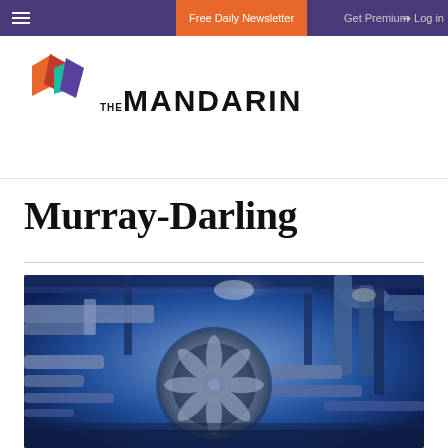Free Daily Newsletter  Get Premium  Log in
[Figure (logo): The Mandarin logo with geometric diamond/hexagon shapes in orange, red, teal and purple, followed by text THE MANDARIN]
Murray-Darling
[Figure (photo): Industrial facility interior with metallic pipes, ductwork, large fan or turbine equipment lit in blue tones]